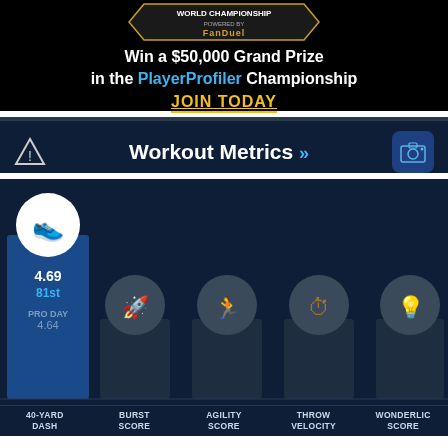[Figure (logo): World Championship powered by FanDuel banner logo]
Win a $50,000 Grand Prize in the PlayerProfiler Championship
JOIN TODAY
Workout Metrics
[Figure (bar-chart): Bar chart of workout metrics with 40-yard dash showing 4.69 (81st percentile, Pro Day 4.64); other metrics shown as grayed out bars with inactive icons]
4.69
81st
PRO DAY
4.64
40-YARD DASH | BURST SCORE | AGILITY SCORE | THROW VELOCITY | WONDERLIC SCORE